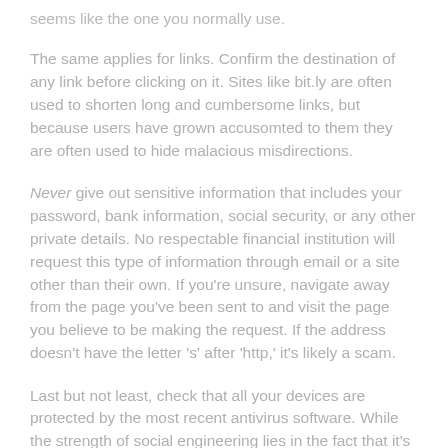seems like the one you normally use.
The same applies for links. Confirm the destination of any link before clicking on it. Sites like bit.ly are often used to shorten long and cumbersome links, but because users have grown accusomted to them they are often used to hide malacious misdirections.
Never give out sensitive information that includes your password, bank information, social security, or any other private details. No respectable financial institution will request this type of information through email or a site other than their own. If you're unsure, navigate away from the page you've been sent to and visit the page you believe to be making the request. If the address doesn't have the letter 's' after 'http,' it's likely a scam.
Last but not least, check that all your devices are protected by the most recent antivirus software. While the strength of social engineering lies in the fact that it's people-driven rather than technology-driven, antivirus software can help detect and prevent requests from known cybercriminals.